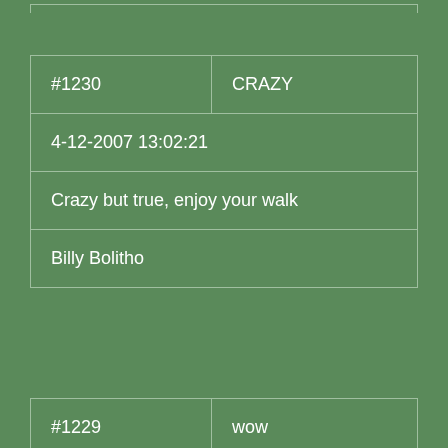| #1230 | CRAZY |
| 4-12-2007 13:02:21 |  |
| Crazy but true, enjoy your walk |  |
| Billy Bolitho |  |
| #1229 | wow |
| 28-11-2007 22:55:00 |  |
| Incredible. Thank you for sharing. |  |